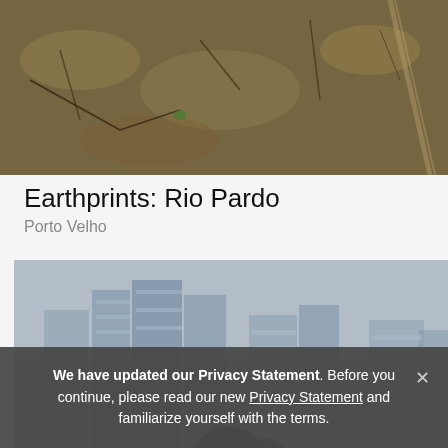[Figure (photo): Aerial view of deforested land, dry brown earth with scattered branches and sparse vegetation, seen from above.]
Earthprints: Rio Pardo
Porto Velho
[Figure (photo): Hazy cityscape with tall skyscrapers partially obscured by smoke or smog, trees visible in the foreground bottom.]
We have updated our Privacy Statement. Before you continue, please read our new Privacy Statement and familiarize yourself with the terms.